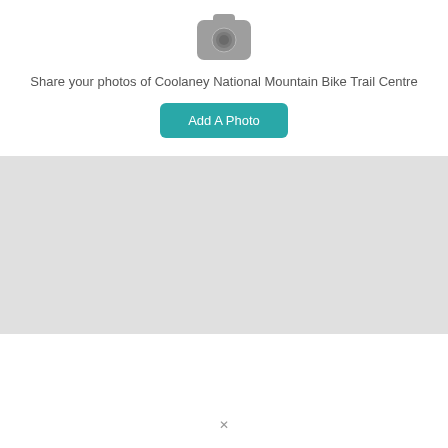[Figure (illustration): Camera icon, gray rounded rectangle with a circle (lens) in the center]
Share your photos of Coolaney National Mountain Bike Trail Centre
Add A Photo
[Figure (map): Light gray map area placeholder]